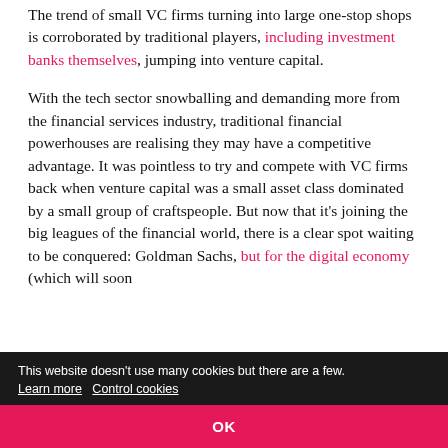The trend of small VC firms turning into large one-stop shops is corroborated by traditional players, including investment banks themselves, jumping into venture capital.
With the tech sector snowballing and demanding more from the financial services industry, traditional financial powerhouses are realising they may have a competitive advantage. It was pointless to try and compete with VC firms back when venture capital was a small asset class dominated by a small group of craftspeople. But now that it's joining the big leagues of the financial world, there is a clear spot waiting to be conquered: Goldman Sachs, but for the digital economy (which will soon
This website doesn't use many cookies but there are a few. Learn more   Control cookies
OK